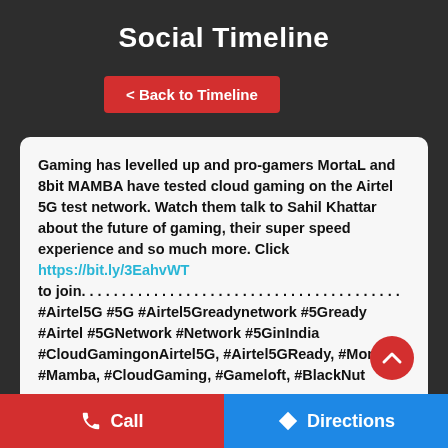Social Timeline
< Back to Timeline
Gaming has levelled up and pro-gamers MortaL and 8bit MAMBA have tested cloud gaming on the Airtel 5G test network. Watch them talk to Sahil Khattar about the future of gaming, their super speed experience and so much more. Click https://bit.ly/3EahvWT to join. . . . . . . . . . . . . . . . . . . . . . . . . . . . . . . . . . . . . . . . #Airtel5G #5G #Airtel5Greadynetwork #5Gready #Airtel #5GNetwork #Network #5GinIndia #CloudGamingonAirtel5G, #Airtel5GReady, #Mortal, #Mamba, #CloudGaming, #Gameloft, #BlackNut
#Airtel5G
Call
Directions